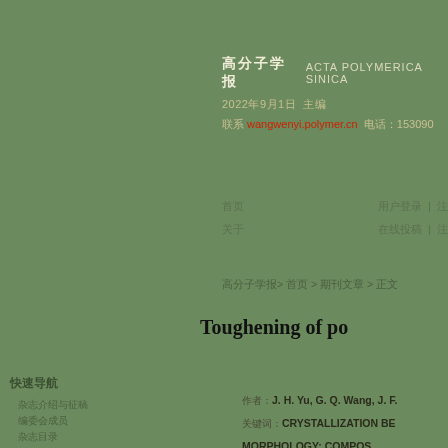高分子学报  ACTA POLYMERICA SINICA
2022年9月1日  主编
联系 wangwenyi.polymer.cn 电话：153090
首页  用户登录 | 注
关于  在线投稿 | 注
高分子学报> 首页 > 期刊文章 > 正文
Toughening of po
快速导航
杂志介绍与征稿
编委会成员
杂志目录
作者：J. H. Yu, G. Q. Wang, J. F.
关键词：CRYSTALLIZATION BE
MORPHOLOGY; COMPOS